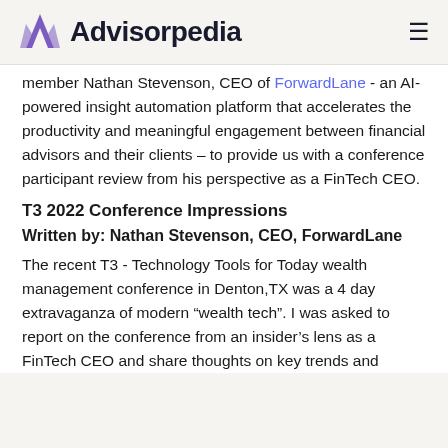Advisorpedia
member Nathan Stevenson, CEO of ForwardLane - an AI-powered insight automation platform that accelerates the productivity and meaningful engagement between financial advisors and their clients – to provide us with a conference participant review from his perspective as a FinTech CEO.
T3 2022 Conference Impressions
Written by: Nathan Stevenson, CEO, ForwardLane
The recent T3 - Technology Tools for Today wealth management conference in Denton,TX was a 4 day extravaganza of modern “wealth tech”. I was asked to report on the conference from an insider’s lens as a FinTech CEO and share thoughts on key trends and